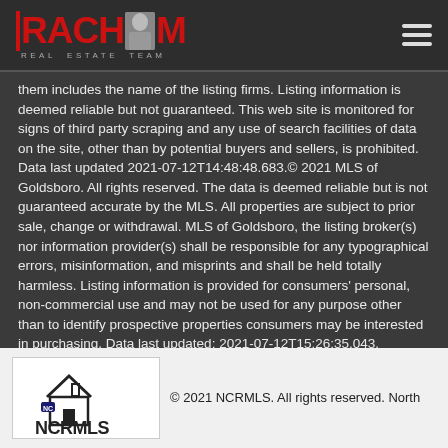RACHM REAL ESTATE TEAM [logo + hamburger menu]
them includes the name of the listing firms. Listing information is deemed reliable but not guaranteed. This web site is monitored for signs of third party scraping and any use of search facilities of data on the site, other than by potential buyers and sellers, is prohibited. Data last updated 2021-07-12T14:48:48.683.© 2021 MLS of Goldsboro. All rights reserved. The data is deemed reliable but is not guaranteed accurate by the MLS. All properties are subject to prior sale, change or withdrawal. MLS of Goldsboro, the listing broker(s) nor information provider(s) shall be responsible for any typographical errors, misinformation, and misprints and shall be held totally harmless. Listing information is provided for consumers' personal, non-commercial use and may not be used for any purpose other than to identify prospective properties consumers may be interested in purchasing. Data last updated: 2021-07-12T15:26:35.043.
[Figure (logo): NCRMLS North Carolina Regional MLS logo]
© 2021 NCRMLS. All rights reserved. North